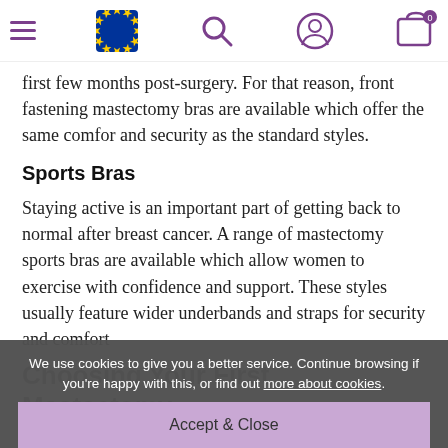Navigation bar with hamburger menu, EU logo, search, account, and cart icons
After breast surgery, some women find it difficult to wear a standard back fastening bra especially in the first few months post-surgery. For that reason, front fastening mastectomy bras are available which offer the same comfor and security as the standard styles.
Sports Bras
Staying active is an important part of getting back to normal after breast cancer. A range of mastectomy sports bras are available which allow women to exercise with confidence and support. These styles usually feature wider underbands and straps for security and comfort
Choosing Your First Mastectomy...
We use cookies to give you a better service. Continue browsing if you're happy with this, or find out more about cookies.
Accept & Close